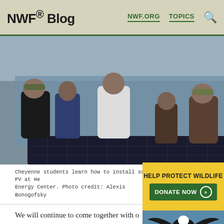NWF® Blog  NWF.ORG  TOPICS
[Figure (photo): Group of Cheyenne students gathered around a solar PV panel outdoors, with a corrugated metal wall and bare trees in the background.]
Cheyenne students learn how to install solar PV at He_ Energy Center. Photo credit: Alexis Bonogofsky
[Figure (infographic): Yellow donation box with text 'HELP PROTECT WILDLIFE' and 'DONATE NOW' button with double arrow, overlapping caption and eagle photo below.]
[Figure (photo): Eagle spreading its wings over water, visible in lower right corner.]
We will continue to come together with o until this mine is not longer and option will fight this at every step. More ...